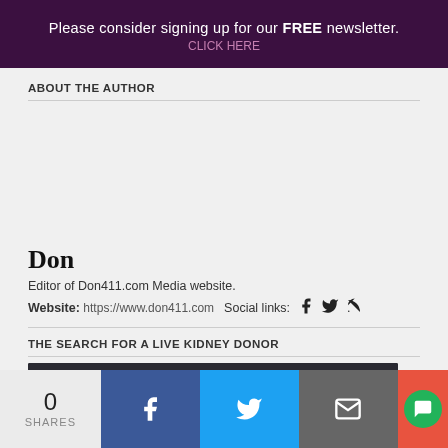Please consider signing up for our FREE newsletter.
ABOUT THE AUTHOR
Don
Editor of Don411.com Media website.
Website: https://www.don411.com  Social links:
THE SEARCH FOR A LIVE KIDNEY DONOR
[Figure (screenshot): Thumbnail image with cursive text 'Kidney Donor' on dark background]
0 SHARES | Facebook share | Twitter share | Email share | Chat